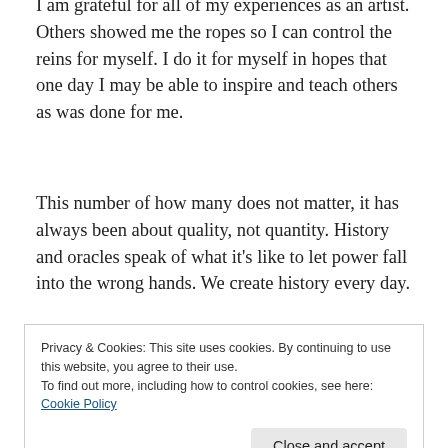I am grateful for all of my experiences as an artist. Others showed me the ropes so I can control the reins for myself. I do it for myself in hopes that one day I may be able to inspire and teach others as was done for me.
This number of how many does not matter, it has always been about quality, not quantity. History and oracles speak of what it's like to let power fall into the wrong hands. We create history every day.
Every time I create, I leave a piece of my soul within my craft. Whether it be on watercolor on Stratford,
Privacy & Cookies: This site uses cookies. By continuing to use this website, you agree to their use.
To find out more, including how to control cookies, see here: Cookie Policy
Close and accept
it important to be aware so you can whatever is below